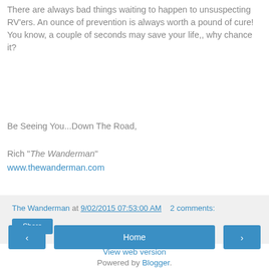There are always bad things waiting to happen to unsuspecting RV'ers. An ounce of prevention is always worth a pound of cure! You know, a couple of seconds may save your life,, why chance it?
Be Seeing You...Down The Road,
Rich "The Wanderman"
www.thewanderman.com
The Wanderman at 9/02/2015 07:53:00 AM   2 comments:
Share
‹  Home  ›
View web version
Powered by Blogger.